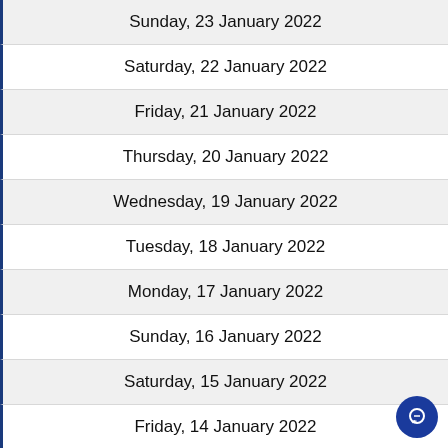Sunday, 23 January 2022
Saturday, 22 January 2022
Friday, 21 January 2022
Thursday, 20 January 2022
Wednesday, 19 January 2022
Tuesday, 18 January 2022
Monday, 17 January 2022
Sunday, 16 January 2022
Saturday, 15 January 2022
Friday, 14 January 2022
Thursday, 13 January 2022